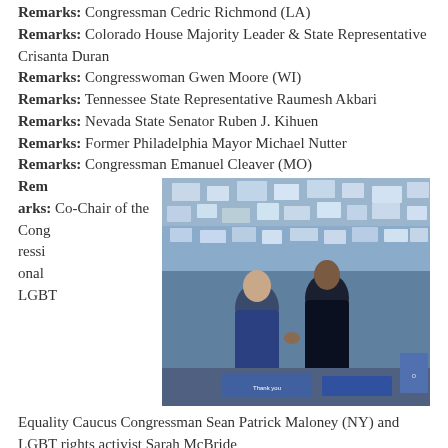Remarks: Congressman Cedric Richmond (LA)
Remarks: Colorado House Majority Leader & State Representative Crisanta Duran
Remarks: Congresswoman Gwen Moore (WI)
Remarks: Tennessee State Representative Raumesh Akbari
Remarks: Nevada State Senator Ruben J. Kihuen
Remarks: Former Philadelphia Mayor Michael Nutter
Remarks: Congressman Emanuel Cleaver (MO)
Remarks: Co-Chair of the Congressional LGBT Equality Caucus Congressman Sean Patrick Maloney (NY) and LGBT rights activist Sarah McBride
[Figure (photo): Two people greeting each other on stage at a political rally with a large crowd holding signs in the background]
Remarks: Civil Rights Leader Dolores Huerta
Remarks: Congresswoman Joyce Beatty (OH)
Remarks: Minnesota Governor Mark Dayton